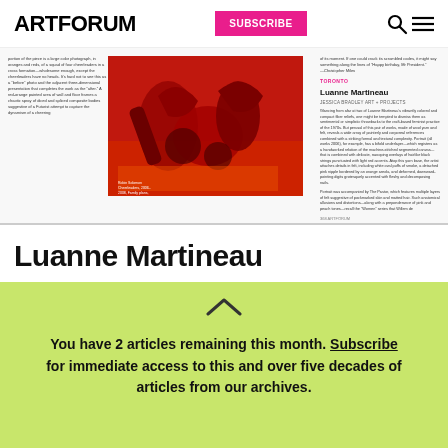ARTFORUM | SUBSCRIBE
[Figure (screenshot): Artforum magazine article page preview showing a review of Luanne Martineau at Jessica Bradley Art + Projects, Toronto, with a red sculptural installation image and article text columns]
Luanne Martineau
You have 2 articles remaining this month. Subscribe for immediate access to this and over five decades of articles from our archives.